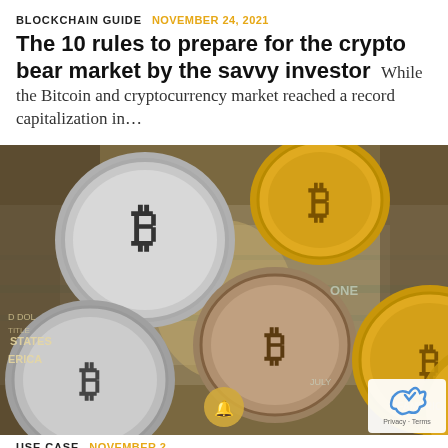BLOCKCHAIN GUIDE   NOVEMBER 24, 2021
The 10 rules to prepare for the crypto bear market by the savvy investor
While the Bitcoin and cryptocurrency market reached a record capitalization in…
[Figure (photo): Photograph of multiple Bitcoin and cryptocurrency coins (silver and gold colored) scattered on top of US dollar bills, with a notification bell icon overlay and a reCAPTCHA badge in the bottom right corner.]
USE CASE   NOVEMBER 2...